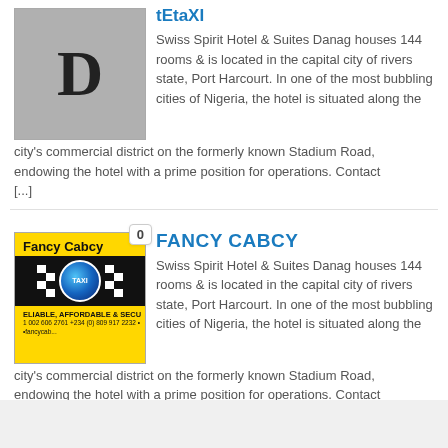[Figure (photo): Gray placeholder image with bold letter D, with a badge in the top-right corner (no number visible, truncated from top)]
tEtaxi (truncated, partially visible at top)
Swiss Spirit Hotel & Suites Danag houses 144 rooms & is located in the capital city of rivers state, Port Harcourt. In one of the most bubbling cities of Nigeria, the hotel is situated along the city's commercial district on the formerly known Stadium Road, endowing the hotel with a prime position for operations. Contact [...]
[Figure (photo): Fancy Cabcy taxi logo image on yellow background with checkered taxi band and globe icon, badge showing 0]
FANCY CABCY
Swiss Spirit Hotel & Suites Danag houses 144 rooms & is located in the capital city of rivers state, Port Harcourt. In one of the most bubbling cities of Nigeria, the hotel is situated along the city's commercial district on the formerly known Stadium Road, endowing the hotel with a prime position for operations. Contact [...]